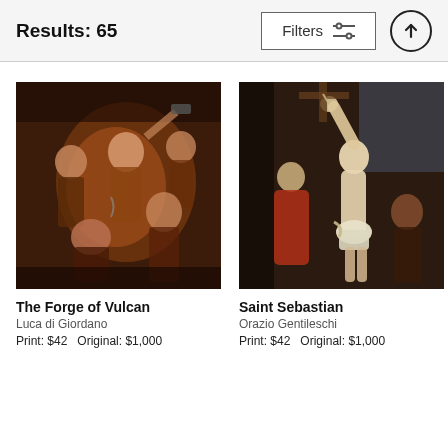Results: 65
Filters
[Figure (photo): The Forge of Vulcan painting by Luca di Giordano showing muscular figures working at a forge in a dark dramatic setting]
The Forge of Vulcan
Luca di Giordano
Print: $42   Original: $1,000
[Figure (photo): Saint Sebastian painting by Orazio Gentileschi showing a pale young man bound with arms raised, with a draped figure in red beside him]
Saint Sebastian
Orazio Gentileschi
Print: $42   Original: $1,000